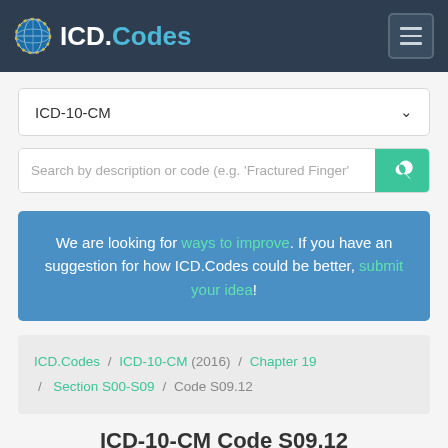ICD.Codes
ICD-10-CM
Search by description or code (e.g. 'Fractured Finger'
We are looking for ways to improve. If you have an suggestion for how ICD.Codes could be better, submit your idea!
ICD.Codes / ICD-10-CM (2016) / Chapter 19 / Section S00-S09 / Code S09.12
ICD-10-CM Code S09.12